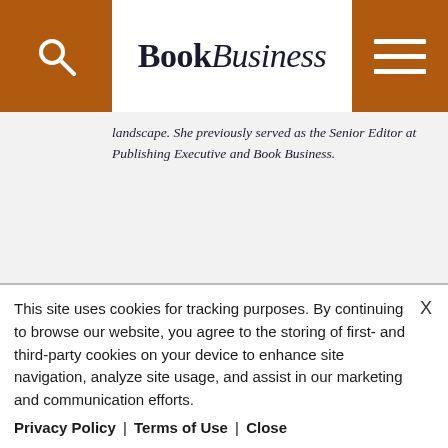BookBusiness
landscape. She previously served as the Senior Editor at Publishing Executive and Book Business.
RELATED CONTENT
[Figure (photo): Partial image strip below Related Content section header]
This site uses cookies for tracking purposes. By continuing to browse our website, you agree to the storing of first- and third-party cookies on your device to enhance site navigation, analyze site usage, and assist in our marketing and communication efforts.
Privacy Policy | Terms of Use | Close